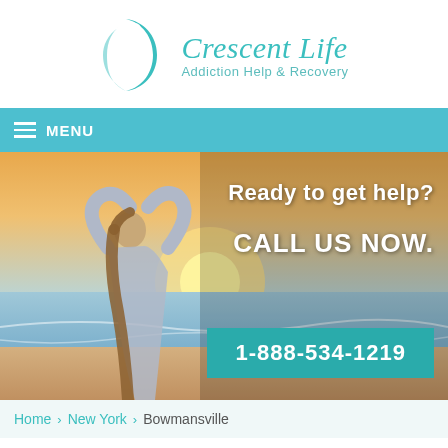[Figure (logo): Crescent Life logo with teal crescent moon and figure, text 'Crescent Life Addiction Help & Recovery']
[Figure (screenshot): Navigation bar with hamburger menu icon and MENU label on teal background]
[Figure (photo): Hero image of a woman at beach making heart shape with hands toward sunset. Overlay text: 'Ready to get help?', 'CALL US NOW.', and phone button '1-888-534-1219']
Home › New York › Bowmansville
Addiction Treatment Facilities